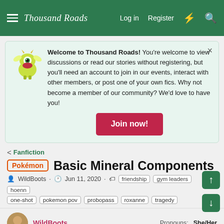Thousand Roads — Log in  Register
Welcome to Thousand Roads! You're welcome to view discussions or read our stories without registering, but you'll need an account to join in our events, interact with other members, or post one of your own fics. Why not become a member of our community? We'd love to have you!
Join now!
< Fanfiction
Pokémon  Basic Mineral Components
WildBoots · Jun 11, 2020 · friendship  gym leaders  hoenn
one-shot  pokemon pov  probopass  roxanne  tragedy
WildBoots   Pronouns:   She/Her